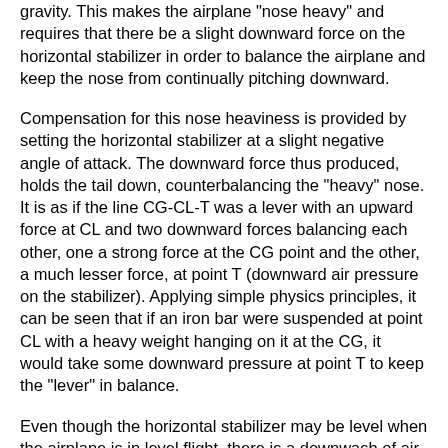gravity. This makes the airplane "nose heavy" and requires that there be a slight downward force on the horizontal stabilizer in order to balance the airplane and keep the nose from continually pitching downward.
Compensation for this nose heaviness is provided by setting the horizontal stabilizer at a slight negative angle of attack. The downward force thus produced, holds the tail down, counterbalancing the "heavy" nose. It is as if the line CG-CL-T was a lever with an upward force at CL and two downward forces balancing each other, one a strong force at the CG point and the other, a much lesser force, at point T (downward air pressure on the stabilizer). Applying simple physics principles, it can be seen that if an iron bar were suspended at point CL with a heavy weight hanging on it at the CG, it would take some downward pressure at point T to keep the "lever" in balance.
Even though the horizontal stabilizer may be level when the airplane is in level flight, there is a downwash of air from the wings. This downwash strikes the top of the stabilizer and produces a downward pressure which at a certain speed will be